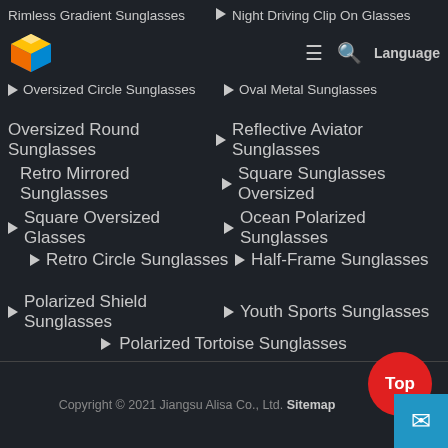Rimless Gradient Sunglasses
Night Driving Clip On Glasses
[Figure (logo): Colorful cube logo (orange/yellow/blue/white facets) for a Chinese eyewear company]
Oversized Circle Sunglasses
Oval Metal Sunglasses
Oversized Round Sunglasses
Reflective Aviator Sunglasses
Retro Mirrored Sunglasses
Square Sunglasses Oversized
Square Oversized Glasses
Ocean Polarized Sunglasses
Retro Circle Sunglasses
Half-Frame Sunglasses
Polarized Shield Sunglasses
Youth Sports Sunglasses
Polarized Tortoise Sunglasses
Copyright © 2021 Jiangsu Alisa Co., Ltd. Sitemap